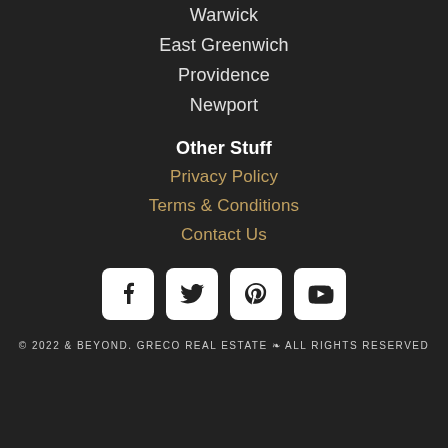Warwick
East Greenwich
Providence
Newport
Other Stuff
Privacy Policy
Terms & Conditions
Contact Us
[Figure (infographic): Four social media icons in white rounded squares: Facebook, Twitter, Pinterest, YouTube]
© 2022 & BEYOND. GRECO REAL ESTATE ❧ ALL RIGHTS RESERVED